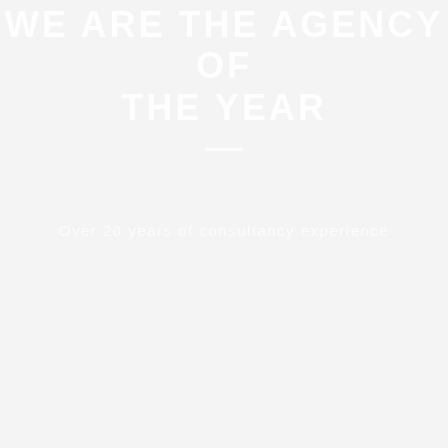WE ARE THE AGENCY OF THE YEAR
Over 20 years of consultancy experience